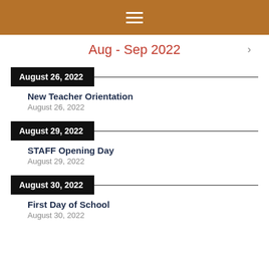≡
Aug - Sep 2022
August 26, 2022
New Teacher Orientation
August 26, 2022
August 29, 2022
STAFF Opening Day
August 29, 2022
August 30, 2022
First Day of School
August 30, 2022